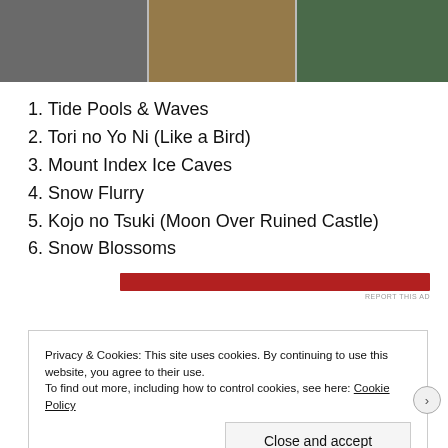[Figure (photo): Three photo panels side by side showing indoor scenes]
1. Tide Pools & Waves
2. Tori no Yo Ni (Like a Bird)
3. Mount Index Ice Caves
4. Snow Flurry
5. Kojo no Tsuki (Moon Over Ruined Castle)
6. Snow Blossoms
[Figure (other): Red advertisement bar with REPORT THIS AD text]
Privacy & Cookies: This site uses cookies. By continuing to use this website, you agree to their use.
To find out more, including how to control cookies, see here: Cookie Policy
Close and accept